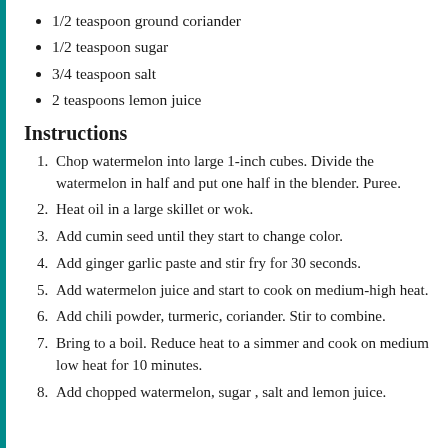1/2 teaspoon ground coriander
1/2 teaspoon sugar
3/4 teaspoon salt
2 teaspoons lemon juice
Instructions
1. Chop watermelon into large 1-inch cubes. Divide the watermelon in half and put one half in the blender. Puree.
2. Heat oil in a large skillet or wok.
3. Add cumin seed until they start to change color.
4. Add ginger garlic paste and stir fry for 30 seconds.
5. Add watermelon juice and start to cook on medium-high heat.
6. Add chili powder, turmeric, coriander. Stir to combine.
7. Bring to a boil. Reduce heat to a simmer and cook on medium low heat for 10 minutes.
8. Add chopped watermelon, sugar , salt and lemon juice.